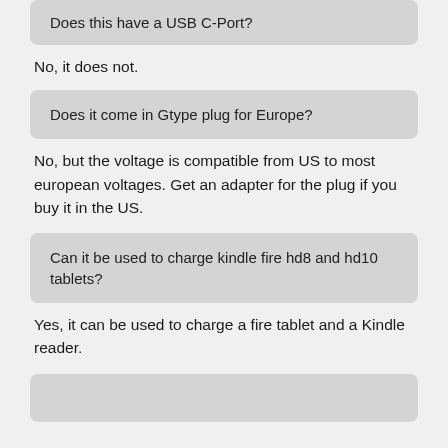Does this have a USB C-Port?
No, it does not.
Does it come in Gtype plug for Europe?
No, but the voltage is compatible from US to most european voltages. Get an adapter for the plug if you buy it in the US.
Can it be used to charge kindle fire hd8 and hd10 tablets?
Yes, it can be used to charge a fire tablet and a Kindle reader.